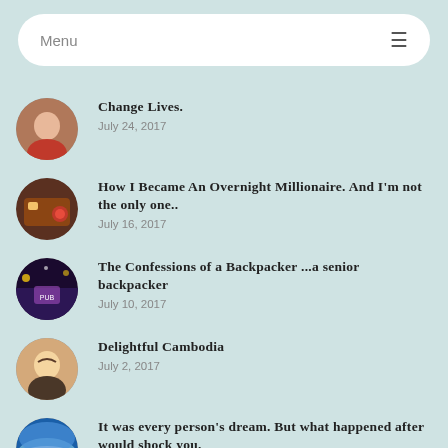Menu
Change Lives.
How I Became An Overnight Millionaire. And I'm not the only one..
The Confessions of a Backpacker ...a senior backpacker
Delightful Cambodia
It was every person's dream. But what happened after would shock you.